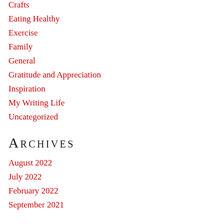Crafts
Eating Healthy
Exercise
Family
General
Gratitude and Appreciation
Inspiration
My Writing Life
Uncategorized
Archives
August 2022
July 2022
February 2022
September 2021